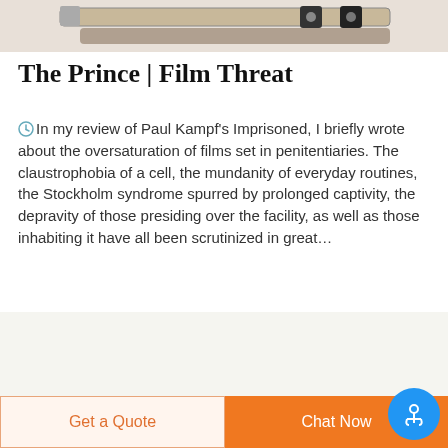[Figure (photo): Top portion of a page showing belts or tactical gear items on a light background]
The Prince | Film Threat
In my review of Paul Kampf's Imprisoned, I briefly wrote about the oversaturation of films set in penitentiaries. The claustrophobia of a cell, the mundanity of everyday routines, the Stockholm syndrome spurred by prolonged captivity, the depravity of those presiding over the facility, as well as those inhabiting it have all been scrutinized in great…
[Figure (logo): DEEKON logo — circular camouflage-style badge with D letter in red center, and DEEKON text in red below]
[Figure (photo): Olive green ribbed military-style crew neck sweater]
Get a Quote
Chat Now